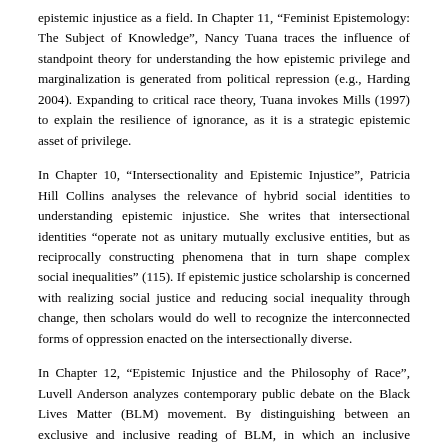epistemic injustice as a field. In Chapter 11, “Feminist Epistemology: The Subject of Knowledge”, Nancy Tuana traces the influence of standpoint theory for understanding the how epistemic privilege and marginalization is generated from political repression (e.g., Harding 2004). Expanding to critical race theory, Tuana invokes Mills (1997) to explain the resilience of ignorance, as it is a strategic epistemic asset of privilege.
In Chapter 10, “Intersectionality and Epistemic Injustice”, Patricia Hill Collins analyses the relevance of hybrid social identities to understanding epistemic injustice. She writes that intersectional identities “operate not as unitary mutually exclusive entities, but as reciprocally constructing phenomena that in turn shape complex social inequalities” (115). If epistemic justice scholarship is concerned with realizing social justice and reducing social inequality through change, then scholars would do well to recognize the interconnected forms of oppression enacted on the intersectionally diverse.
In Chapter 12, “Epistemic Injustice and the Philosophy of Race”, Luvell Anderson analyzes contemporary public debate on the Black Lives Matter (BLM) movement. By distinguishing between an exclusive and inclusive reading of BLM, in which an inclusive reading entails that “black lives also matter” while an exclusive reading implies “only black lives matter,”